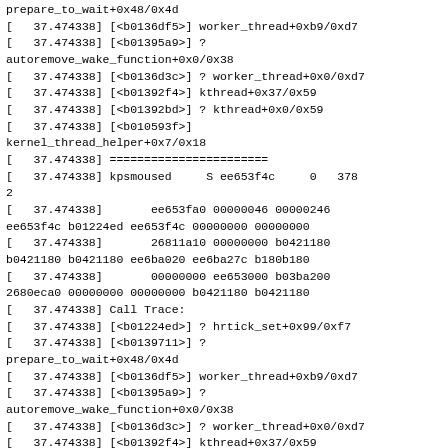prepare_to_wait+0x48/0x4d
[   37.474338] [<b0136df5>] worker_thread+0xb9/0xd7
[   37.474338] [<b01395a9>] ?
autoremove_wake_function+0x0/0x38
[   37.474338] [<b0136d3c>] ? worker_thread+0x0/0xd7
[   37.474338] [<b01392f4>] kthread+0x37/0x59
[   37.474338] [<b01392bd>] ? kthread+0x0/0x59
[   37.474338] [<b010593f>]
kernel_thread_helper+0x7/0x18
[   37.474338] =======================
[   37.474338] kpsmoused     S ee653f4c     0   378
2
[   37.474338]       ee653fa0 00000046 00000246
ee653f4c b01224ed ee653f4c 00000000 00000000
[   37.474338]       26811a10 00000000 b0421180
b0421180 b0421180 ee6ba020 ee6ba27c b180b180
[   37.474338]       00000000 ee653000 b03ba200
2680eca0 00000000 00000000 b0421180 b0421180
[   37.474338] Call Trace:
[   37.474338] [<b01224ed>] ? hrtick_set+0x99/0xf7
[   37.474338] [<b0139711>] ?
prepare_to_wait+0x48/0x4d
[   37.474338] [<b0136df5>] worker_thread+0xb9/0xd7
[   37.474338] [<b01395a9>] ?
autoremove_wake_function+0x0/0x38
[   37.474338] [<b0136d3c>] ? worker_thread+0x0/0xd7
[   37.474338] [<b01392f4>] kthread+0x37/0x59
[   37.474338] [<b01392bd>] ? kthread+0x0/0x59
[   37.474338] [<b010593f>]
kernel_thread_helper+0x7/0x18